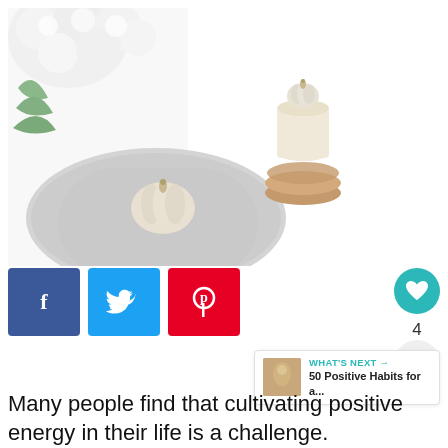[Figure (photo): Flat-lay lifestyle photo showing white flowers, a small white pumpkin on a grey textured mat, and a candle on a wooden slice, against a white background.]
[Figure (infographic): Social sharing buttons: Facebook (blue, 'f'), Twitter (light blue, bird icon), Pinterest (red, 'p' pin icon), heart/like button (teal circle with heart), count of 4, share button (circle with share icon), and a 'WHAT'S NEXT' widget showing '50 Positive Habits for a...']
Many people find that cultivating positive energy in their life is a challenge.